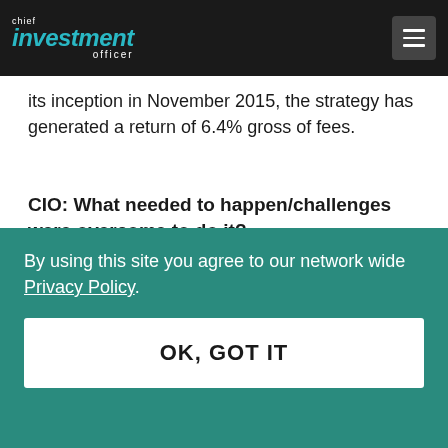chief investment officer
its inception in November 2015, the strategy has generated a return of 6.4% gross of fees.
CIO: What needed to happen/challenges were overcome to do it?
Villa: In 2005, the SWIB trustees set out on a mission to transform the agency into a premier
By using this site you agree to our network wide Privacy Policy.
OK, GOT IT